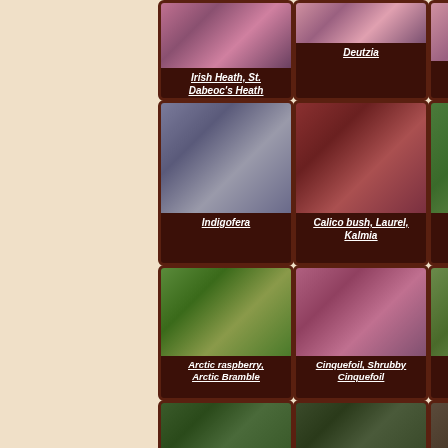[Figure (photo): Irish Heath, St. Dabeoc's Heath plant with pink flower]
Irish Heath, St. Dabeoc's Heath
[Figure (photo): Deutzia flowering shrub]
Deutzia
[Figure (photo): Kousa Dogwood / Chinese Dogwood / Japanese Dogwood pink flower]
Kousa Dogwood, Chinese Dogwood, Japanese Dogwo...
[Figure (photo): Indigofera shrub with purple flowers]
Indigofera
[Figure (photo): Calico bush Laurel Kalmia with pink-red flowers]
Calico bush, Laurel, Kalmia
[Figure (photo): Sweet pepper bush Summersweet tall green shrub]
Sweet pepper bus... Summersweet
[Figure (photo): Arctic raspberry Arctic Bramble spreading ground cover]
Arctic raspberry, Arctic Bramble
[Figure (photo): Cinquefoil Shrubby Cinquefoil pink flower]
Cinquefoil, Shrubby Cinquefoil
[Figure (photo): Shrub Bush Clover plant]
Shrub Bush Clov...
[Figure (photo): Plant partial row bottom]
[Figure (photo): Plant partial row bottom center]
[Figure (photo): Plant partial row bottom right]